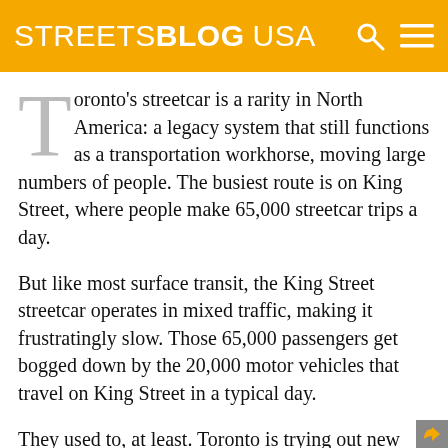STREETSBLOG USA
Toronto's streetcar is a rarity in North America: a legacy system that still functions as a transportation workhorse, moving large numbers of people. The busiest route is on King Street, where people make 65,000 streetcar trips a day.
But like most surface transit, the King Street streetcar operates in mixed traffic, making it frustratingly slow. Those 65,000 passengers get bogged down by the 20,000 motor vehicles that travel on King Street in a typical day.
They used to, at least. Toronto is trying out new rules along 1.6 miles of King Street, with strict limits on